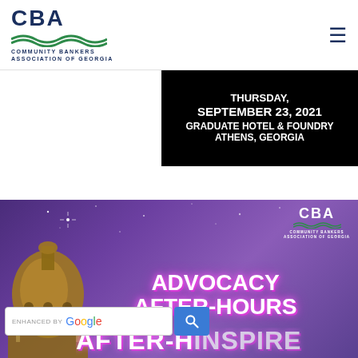[Figure (logo): Community Bankers Association of Georgia logo with CBA text and green wave]
[Figure (infographic): Black box with white bold text: THURSDAY, SEPTEMBER 23, 2021 GRADUATE HOTEL & FOUNDRY ATHENS, GEORGIA]
[Figure (photo): Purple/violet night sky banner showing Georgia capitol dome, CBA logo top right, large text ADVOCACY AFTER-HOURS in white/pink neon style, partial text INSPIRE at bottom, Google search bar overlay]